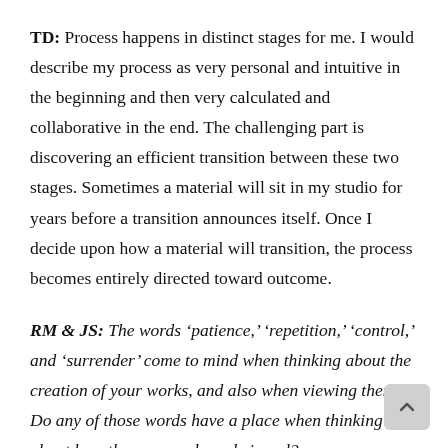TD: Process happens in distinct stages for me. I would describe my process as very personal and intuitive in the beginning and then very calculated and collaborative in the end. The challenging part is discovering an efficient transition between these two stages. Sometimes a material will sit in my studio for years before a transition announces itself. Once I decide upon how a material will transition, the process becomes entirely directed toward outcome.
RM & JS: The words 'patience,' 'repetition,' 'control,' and 'surrender' come to mind when thinking about the creation of your works, and also when viewing them. Do any of those words have a place when thinking about how they are made and viewed?